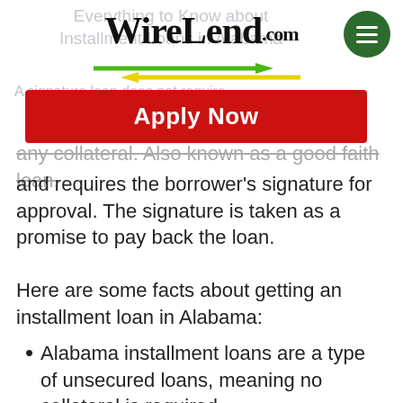[Figure (logo): WireLend.com logo with green menu hamburger button and two directional arrows (green pointing right, yellow pointing left)]
[Figure (other): Red Apply Now button]
any collateral. Also known as a good faith loan, and requires the borrower's signature for approval. The signature is taken as a promise to pay back the loan.
Here are some facts about getting an installment loan in Alabama:
Alabama installment loans are a type of unsecured loans, meaning no collateral is required.